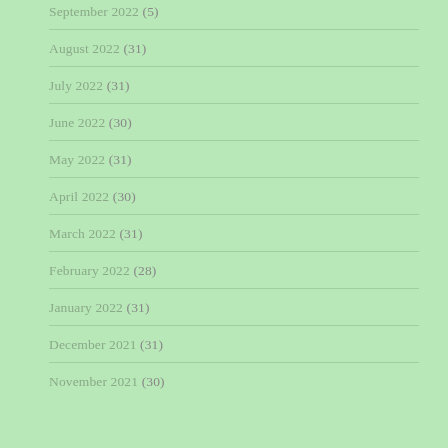September 2022 (5)
August 2022 (31)
July 2022 (31)
June 2022 (30)
May 2022 (31)
April 2022 (30)
March 2022 (31)
February 2022 (28)
January 2022 (31)
December 2021 (31)
November 2021 (30)